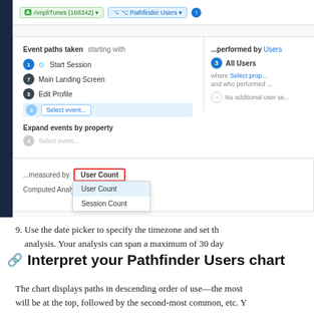[Figure (screenshot): Screenshot of Amplitude Pathfinder Users analysis UI showing event paths (Start Session, Main Landing Screen, Edit Profile, Select event), Expand events by property section, measured by User Count dropdown with options User Count and Session Count, and Computed Analysis row. Right panel shows performed by Users with All Users selected.]
9. Use the date picker to specify the timezone and set th analysis. Your analysis can span a maximum of 30 day
Interpret your Pathfinder Users chart
The chart displays paths in descending order of use—the most will be at the top, followed by the second-most common, etc. Y